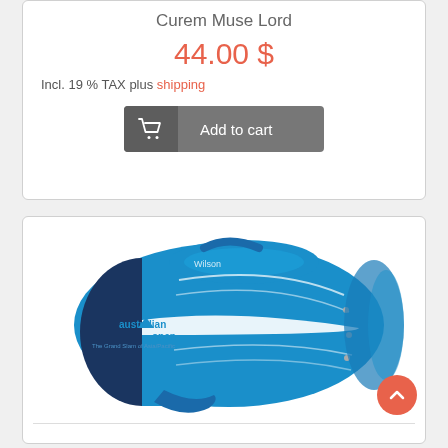Curem Muse Lord
44.00 $
Incl. 19 % TAX plus shipping
[Figure (screenshot): Add to cart button with shopping cart icon]
[Figure (photo): Wilson Australian Open blue tennis racket bag]